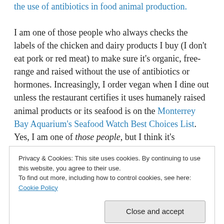the use of antibiotics in food animal production.
I am one of those people who always checks the labels of the chicken and dairy products I buy (I don't eat pork or red meat) to make sure it's organic, free-range and raised without the use of antibiotics or hormones. Increasingly, I order vegan when I dine out unless the restaurant certifies it uses humanely raised animal products or its seafood is on the Monterrey Bay Aquarium's Seafood Watch Best Choices List. Yes, I am one of those people, but I think it's important to be conscientious about what we put in our
Privacy & Cookies: This site uses cookies. By continuing to use this website, you agree to their use.
To find out more, including how to control cookies, see here: Cookie Policy
Up to 70 percent of the antibiotics sold in the U.S. go to